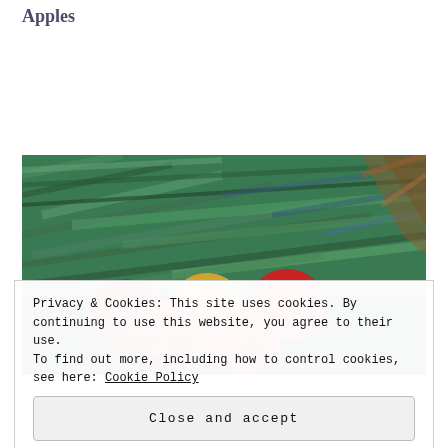Apples
[Figure (illustration): A painting of red and yellow apples on a green textured background, impressionist style with visible brushstrokes.]
Privacy & Cookies: This site uses cookies. By continuing to use this website, you agree to their use.
To find out more, including how to control cookies, see here: Cookie Policy
Close and accept